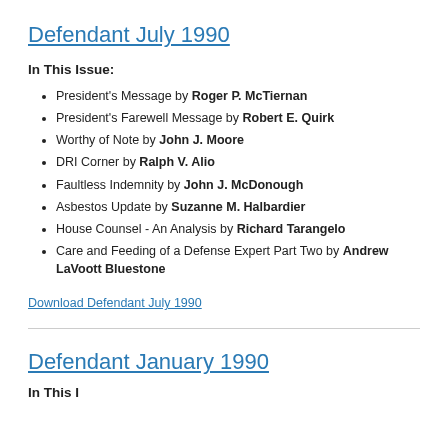Defendant July 1990
In This Issue:
President's Message by Roger P. McTiernan
President's Farewell Message by Robert E. Quirk
Worthy of Note by John J. Moore
DRI Corner by Ralph V. Alio
Faultless Indemnity by John J. McDonough
Asbestos Update by Suzanne M. Halbardier
House Counsel - An Analysis by Richard Tarangelo
Care and Feeding of a Defense Expert Part Two by Andrew LaVoott Bluestone
Download Defendant July 1990
Defendant January 1990